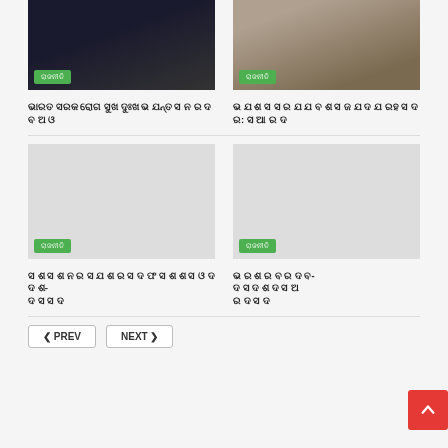[Figure (photo): Portrait photo of a man in dark clothes, with green badge overlay reading ରାଜନୀତି]
[Figure (photo): Photo of a meeting scene with people seated, with green badge overlay reading ରାଜନୀତି]
ଭାରତ ସରକ ରୋଗ ସୁଖ ଦୁଃଖ ଭ ଯନ୍ତ ସ ନ ର ଦ ବ ଅ ଓ
ଭ ଯ ଶ ସ ସ ର ଯ ଯ ବ ଶ ସ ଜ ଯ ଦ ଯ ରହ ସ ଦ ର: ସ ଆ ର ଦ
[Figure (photo): Gray placeholder image with green badge overlay reading ରାଜନୀତି]
[Figure (photo): Gray placeholder image with green badge overlay reading ରାଜନୀତି]
ସ ଶ ସ ଶ ନ ର ସ ଯ ଶ ର ସ ଦ ଫ ସ ଶ ଶ ସ ଓ ଦ ଦ ଶ- ଦ ସ ସ ଦ
ଭ ର ଶ ର ବ ର ଦ ବ- ଦ ସ ଦ ଶ ଦ ସ ଅ ର ଦ ସ ଦ
PREV  NEXT